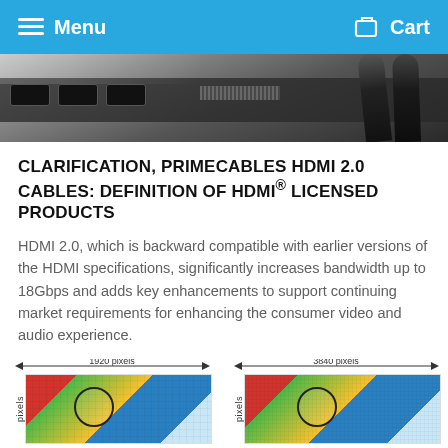Menu   Cart
[Figure (photo): Close-up photo of HDMI ports and cables plugged into the back of a device, dark gray tones]
CLARIFICATION, PRIMECABLES HDMI 2.0 CABLES: DEFINITION OF HDMI® LICENSED PRODUCTS
HDMI 2.0, which is backward compatible with earlier versions of the HDMI specifications, significantly increases bandwidth up to 18Gbps and adds key enhancements to support continuing market requirements for enhancing the consumer video and audio experience.
[Figure (infographic): Side-by-side resolution comparison showing 1920 pixels wide image on the left and 3840 pixels wide image on the right, both showing a parrot photo with pixel labels on axes]